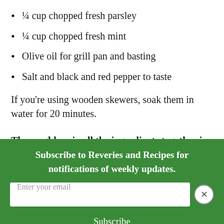¼ cup chopped fresh parsley
¼ cup chopped fresh mint
Olive oil for grill pan and basting
Salt and black and red pepper to taste
If you're using wooden skewers, soak them in water for 20 minutes.
Thoroughly mix all the ingredients together in a bowl. Cover
Subscribe to Reveries and Recipes for notifications of weekly updates.
Enter your email
Subscribe